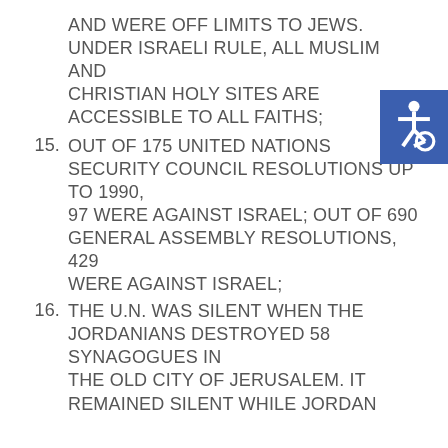AND WERE OFF LIMITS TO JEWS. UNDER ISRAELI RULE, ALL MUSLIM AND CHRISTIAN HOLY SITES ARE ACCESSIBLE TO ALL FAITHS;
15. OUT OF 175 UNITED NATIONS SECURITY COUNCIL RESOLUTIONS UP TO 1990, 97 WERE AGAINST ISRAEL; OUT OF 690 GENERAL ASSEMBLY RESOLUTIONS, 429 WERE AGAINST ISRAEL;
16. THE U.N. WAS SILENT WHEN THE JORDANIANS DESTROYED 58 SYNAGOGUES IN THE OLD CITY OF JERUSALEM. IT REMAINED SILENT WHILE JORDAN